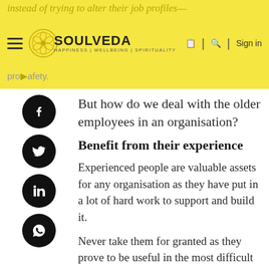instead of trying to alter their job profiles—
[Figure (logo): Soulveda logo with circular geometric emblem and tagline HAPPINESS | WELLBEING | SPIRITUALITY, alongside hamburger menu, search, and Sign in navigation]
But how do we deal with the older employees in an organisation?
Benefit from their experience
Experienced people are valuable assets for any organisation as they have put in a lot of hard work to support and build it.
Never take them for granted as they prove to be useful in the most difficult of times. The best utilisation of senior employees in a